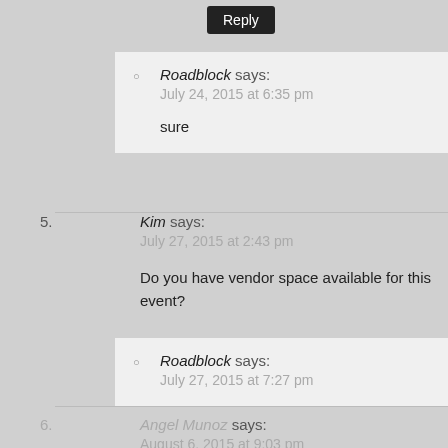Roadblock says: July 24, 2015 at 6:35 pm — sure
5. Kim says: July 27, 2015 at 2:43 pm — Do you have vendor space available for this event?
Roadblock says: July 27, 2015 at 7:27 pm — yes. contact me wolfpackhustle.com/contact
6. Angel Munoz says: August 6, 2015 at 9:03 pm